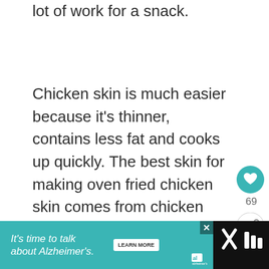lot of work for a snack.
Chicken skin is much easier because it’s thinner, contains less fat and cooks up quickly. The best skin for making oven fried chicken skin comes from chicken breasts or thighs. The skin from these cuts are easy to remove in one piece and can be laid out flat on a baking sheet.
[Figure (other): Heart/like button showing count 69, and a share button below it on the right side of the page]
[Figure (other): Advertisement banner: teal background with text 'It’s time to talk about Alzheimer’s.' with a Learn More button and Alzheimer's Association logo, followed by a dark section with icons]